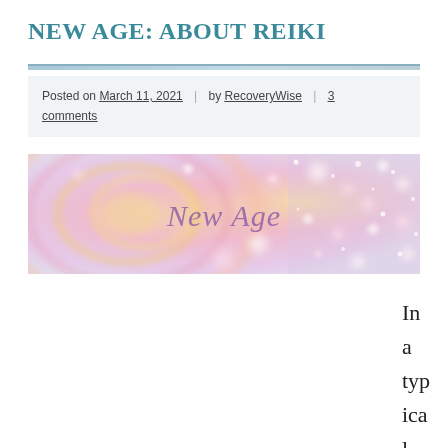NEW AGE: ABOUT REIKI
Posted on March 11, 2021 | by RecoveryWise | 3 comments
[Figure (illustration): Colorful bokeh/abstract New Age banner image with text 'New Age' in purple serif font centered on a swirling pink, orange, yellow, and sparkly background.]
In a typical